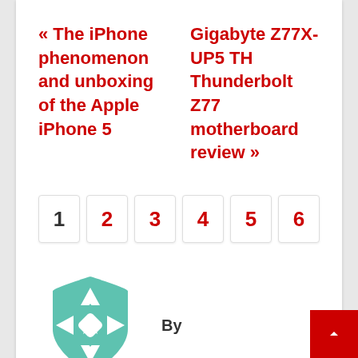« The iPhone phenomenon and unboxing of the Apple iPhone 5
Gigabyte Z77X-UP5 TH Thunderbolt Z77 motherboard review »
1
2
3
4
5
6
By
[Figure (logo): Teal/white geometric star-like logo in a shield/badge shape]